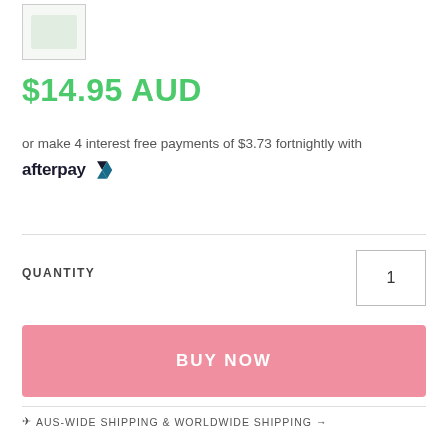[Figure (photo): Small product thumbnail image in a box]
$14.95 AUD
or make 4 interest free payments of $3.73 fortnightly with afterpay
QUANTITY
1
BUY NOW
✈ AUS-WIDE SHIPPING & WORLDWIDE SHIPPING →